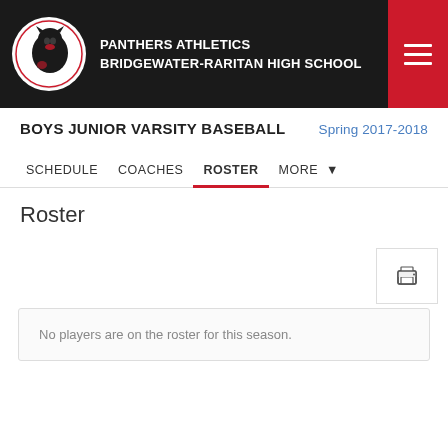PANTHERS ATHLETICS BRIDGEWATER-RARITAN HIGH SCHOOL
BOYS JUNIOR VARSITY BASEBALL Spring 2017-2018
SCHEDULE COACHES ROSTER MORE
Roster
No players are on the roster for this season.